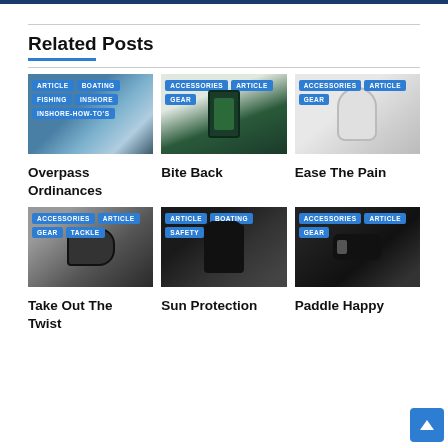Related Posts
[Figure (photo): Post image with tags: ARTICLE, BOATING, FISHING, INSHORE, INSHORE-HOW-TO'S — showing a waterway/overpass scene]
[Figure (photo): Post image with tags: ACCESSORIES, ARTICLE, GEAR — showing a device/kit]
[Figure (photo): Post image with tags: ACCESSORIES, ARTICLE, GEAR — showing a white cylinder/container]
Overpass Ordinances
Bite Back
Ease The Pain
[Figure (photo): Post image with tags: ACCESSORIES, ARTICLE, GEAR, TACKLE — showing a flashlight/tackle tool]
[Figure (photo): Post image with tags: ARTICLE, BOATING, SAFETY — showing a black life jacket]
[Figure (photo): Post image with tags: ACCESSORIES, ARTICLE, GEAR — showing a black belt/holster]
Take Out The Twist
Sun Protection
Paddle Happy